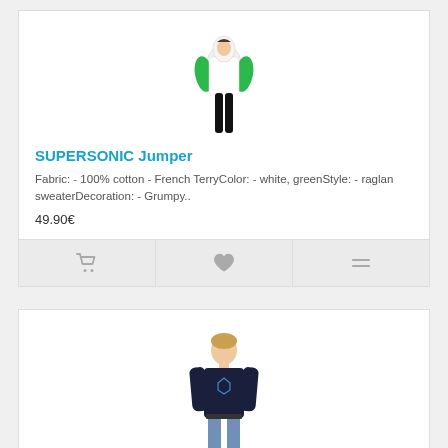[Figure (photo): Person wearing white and green raglan hoodie/jumper, shown from mid-distance against white background]
SUPERSONIC Jumper
Fabric: - 100% cotton - French TerryColor: - white, greenStyle: - raglan sweaterDecoration: - Grumpy..
49.90€
[Figure (photo): Person wearing dark navy/black long-sleeve raglan sweater, shown from mid-distance against white background]
BLACK ON BLACK Sweater
Fabric: - 100% cotton - French TerryColor: - blackStyle: - raglan sweaterDecoration: - GrumpyScampi ..
34.90€  49.90€